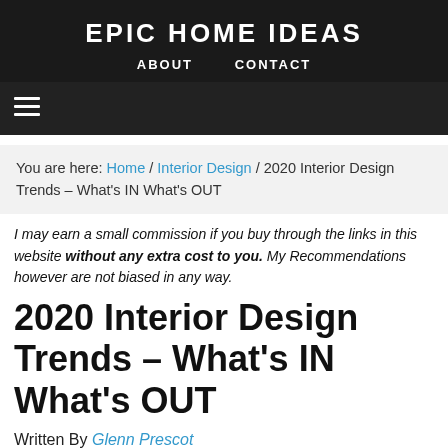EPIC HOME IDEAS
ABOUT   CONTACT
You are here: Home / Interior Design / 2020 Interior Design Trends – What's IN What's OUT
I may earn a small commission if you buy through the links in this website without any extra cost to you. My Recommendations however are not biased in any way.
2020 Interior Design Trends – What's IN What's OUT
Written By Glenn Prescot
With new trends and styles coming in every now and then, keeping up with the latest home décor